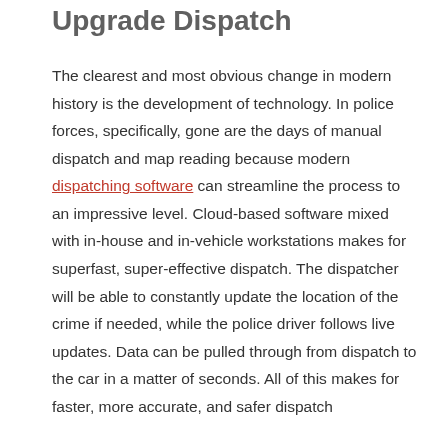Upgrade Dispatch
The clearest and most obvious change in modern history is the development of technology. In police forces, specifically, gone are the days of manual dispatch and map reading because modern dispatching software can streamline the process to an impressive level. Cloud-based software mixed with in-house and in-vehicle workstations makes for superfast, super-effective dispatch. The dispatcher will be able to constantly update the location of the crime if needed, while the police driver follows live updates. Data can be pulled through from dispatch to the car in a matter of seconds. All of this makes for faster, more accurate, and safer dispatch